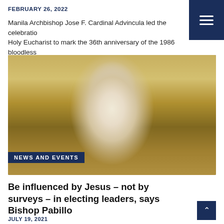FEBRUARY 26, 2022
Manila Archbishop Jose F. Cardinal Advincula led the celebration of Holy Eucharist to mark the 36th anniversary of the 1986 bloodless
[Figure (photo): A Catholic bishop wearing white vestments, a white mitre, and a blue face mask, speaking at a microphone during a religious ceremony with ornate golden altar decorations in the background.]
NEWS AND EVENTS
Be influenced by Jesus – not by surveys – in electing leaders, says Bishop Pabillo
JULY 19, 2021